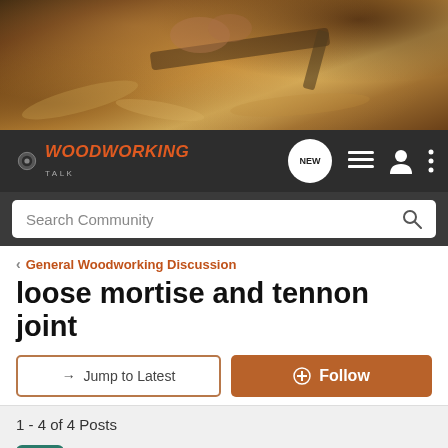[Figure (photo): Banner photo of woodworking — hands using a hand plane on wood with wood shavings]
[Figure (logo): WoodworkingTalk logo with gear icon]
Search Community
< General Woodworking Discussion
loose mortise and tennon joint
→ Jump to Latest
+ Follow
1 - 4 of 4 Posts
tony e · Registered
Joined Apr 30, 2010 · 23 Posts